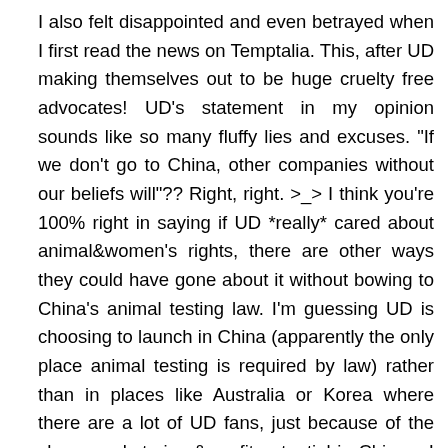I also felt disappointed and even betrayed when I first read the news on Temptalia. This, after UD making themselves out to be huge cruelty free advocates! UD's statement in my opinion sounds like so many fluffy lies and excuses. "If we don't go to China, other companies without our beliefs will"?? Right, right. >_> I think you're 100% right in saying if UD *really* cared about animal&women's rights, there are other ways they could have gone about it without bowing to China's animal testing law. I'm guessing UD is choosing to launch in China (apparently the only place animal testing is required by law) rather than in places like Australia or Korea where there are a lot of UD fans, just because of the sheer market size & profit potential in China... I will continue hoping that UD's statement is true and that they'll do all the good things they say they'll